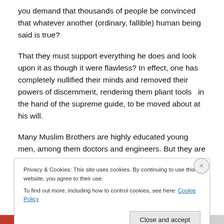you demand that thousands of people be convinced that whatever another (ordinary, fallible) human being said is true?
That they must support everything he does and look upon it as though it were flawless? In effect, one has completely nullified their minds and removed their powers of discernment, rendering them pliant tools  in the hand of the supreme guide, to be moved about at his will.
Many Muslim Brothers are highly educated young men, among them doctors and engineers. But they are in a
Privacy & Cookies: This site uses cookies. By continuing to use this website, you agree to their use.
To find out more, including how to control cookies, see here: Cookie Policy
Close and accept